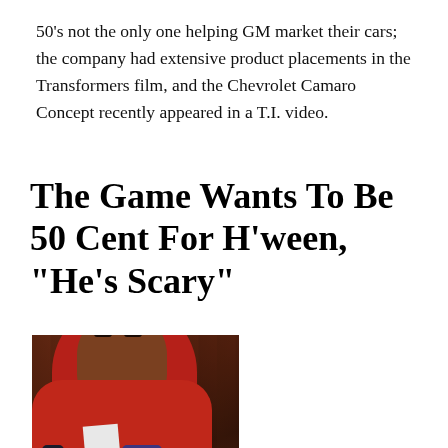50's not the only one helping GM market their cars; the company had extensive product placements in the Transformers film, and the Chevrolet Camaro Concept recently appeared in a T.I. video.
The Game Wants To Be 50 Cent For H’ween, “He’s Scary”
[Figure (photo): Photo of The Game, a rapper wearing a red hoodie/jacket, looking directly at the camera with a serious expression. A bottle and mug/cup are visible in the foreground.]